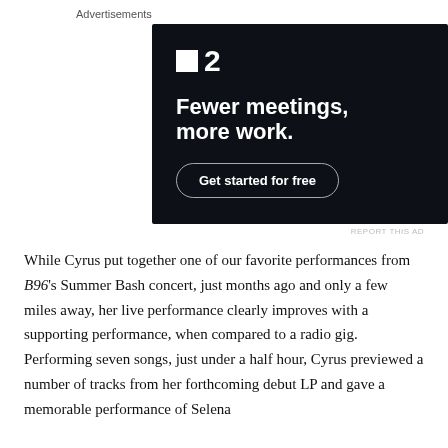Advertisements
[Figure (illustration): Advertisement for a project management / productivity tool. Dark background with a small square logo icon and the number '2'. Bold white headline reads 'Fewer meetings, more work.' with a pill-shaped button 'Get started for free'.]
REPORT THIS AD
While Cyrus put together one of our favorite performances from B96's Summer Bash concert, just months ago and only a few miles away, her live performance clearly improves with a supporting performance, when compared to a radio gig. Performing seven songs, just under a half hour, Cyrus previewed a number of tracks from her forthcoming debut LP and gave a memorable performance of Selena